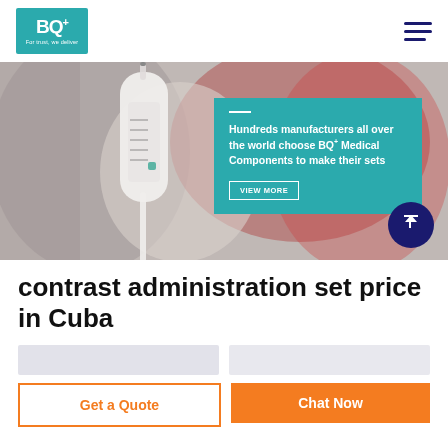[Figure (logo): BQ+ Medical logo — teal/green square with BQ+ text and tagline 'For trust, we deliver']
[Figure (photo): Close-up photo of a medical infusion drip chamber and tubing hanging, blurred red background]
Hundreds manufacturers all over the world choose BQ+ Medical Components to make their sets
contrast administration set price in Cuba
[Figure (screenshot): Two input/search fields side by side]